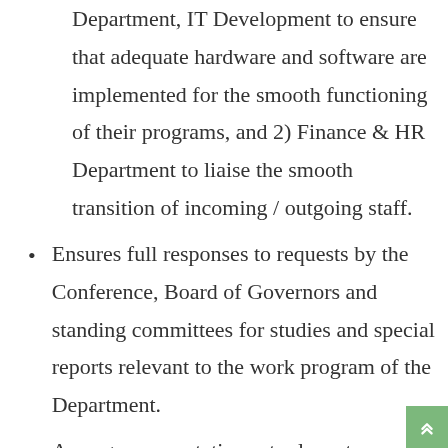Department, IT Development to ensure that adequate hardware and software are implemented for the smooth functioning of their programs, and 2) Finance & HR Department to liaise the smooth transition of incoming / outgoing staff.
Ensures full responses to requests by the Conference, Board of Governors and standing committees for studies and special reports relevant to the work program of the Department.
Arranges presentations at relevant